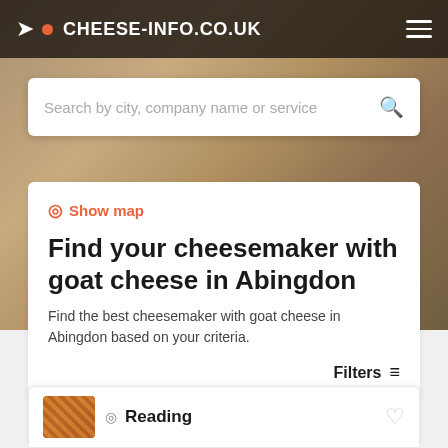CHEESE-INFO.CO.UK
Search by city, company name or service
Show map
Find your cheesemaker with goat cheese in Abingdon
Find the best cheesemaker with goat cheese in Abingdon based on your criteria.
Filters
Reading